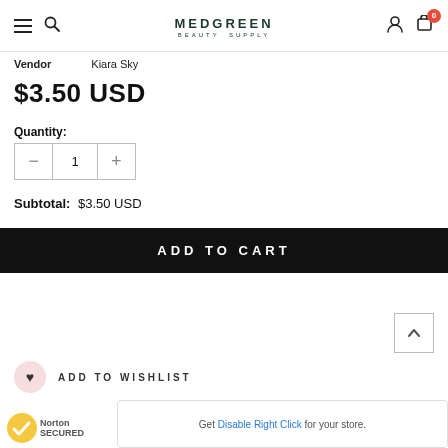MEDGREEN BEAUTY SUPPLY
Vendor: Kiara Sky
$3.50 USD
Quantity: 1
Subtotal: $3.50 USD
ADD TO CART
ADD TO WISHLIST
Get Disable Right Click for your store.